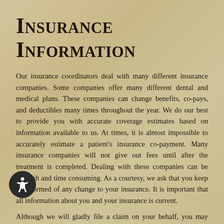Insurance Information
Our insurance coordinators deal with many different insurance companies. Some companies offer many different dental and medical plans. These companies can change benefits, co-pays, and deductibles many times throughout the year. We do our best to provide you with accurate coverage estimates based on information available to us. At times, it is almost impossible to accurately estimate a patient's insurance co-payment. Many insurance companies will not give out fees until after the treatment is completed. Dealing with these companies can be difficult and time consuming. As a courtesy, we ask that you keep us informed of any change to your insurance. It is important that all information about you and your insurance is current.
Although we will gladly file a claim on your behalf, you may wish to submit the claim yourself. In general, insurers process